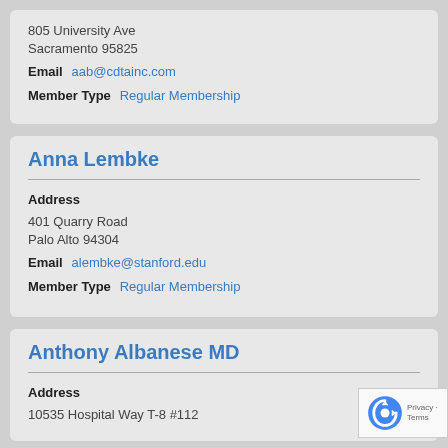805 University Ave
Sacramento 95825
Email aab@cdtainc.com
Member Type Regular Membership
Anna Lembke
Address
401 Quarry Road
Palo Alto 94304
Email alembke@stanford.edu
Member Type Regular Membership
Anthony Albanese MD
Address
10535 Hospital Way T-8 #112